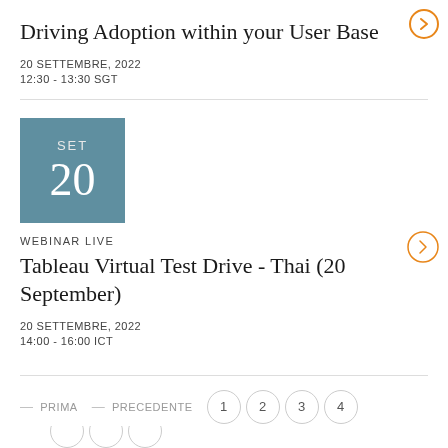Driving Adoption within your User Base
20 SETTEMBRE, 2022
12:30 - 13:30 SGT
WEBINAR LIVE
Tableau Virtual Test Drive - Thai (20 September)
20 SETTEMBRE, 2022
14:00 - 16:00 ICT
— PRIMA  — PRECEDENTE  1  2  3  4